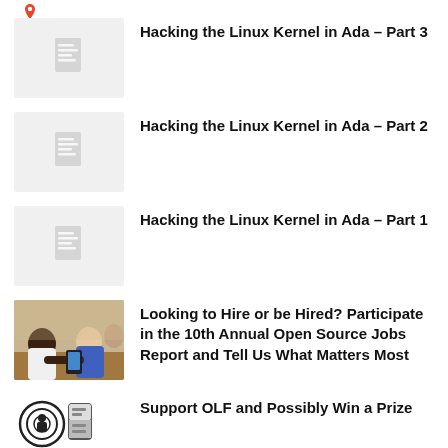[Figure (logo): Small red location/pin icon at top left]
Hacking the Linux Kernel in Ada – Part 3
Hacking the Linux Kernel in Ada – Part 2
Hacking the Linux Kernel in Ada – Part 1
Looking to Hire or be Hired? Participate in the 10th Annual Open Source Jobs Report and Tell Us What Matters Most
Support OLF and Possibly Win a Prize